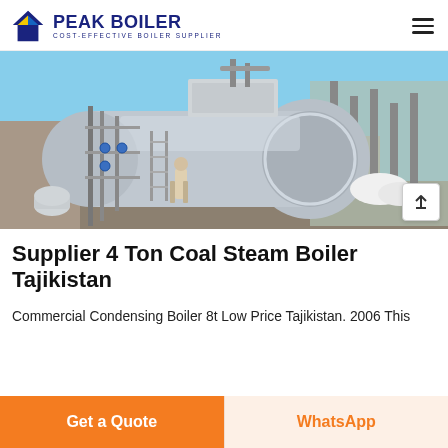[Figure (logo): Peak Boiler logo with blue house/flame icon and text 'PEAK BOILER' and subtitle 'COST-EFFECTIVE BOILER SUPPLIER']
[Figure (photo): Industrial boiler installation site showing a large cylindrical steam boiler with piping, scaffolding, and a worker in an outdoor industrial yard]
Supplier 4 Ton Coal Steam Boiler Tajikistan
Commercial Condensing Boiler 8t Low Price Tajikistan. 2006 This